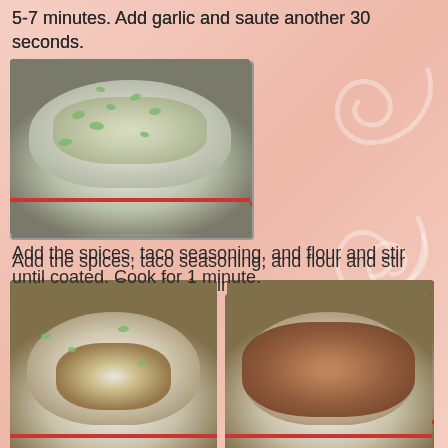5-7 minutes.  Add garlic and saute another 30 seconds.
[Figure (photo): A white Dutch oven pot with chopped onions and green celery/scallions being sautéed]
Add the spices, taco seasoning, and flour and stir until coated.  Cook for 1 minute.
[Figure (photo): Dutch oven with onions, green vegetables, and spices/flour added on top]
[Figure (photo): Dutch oven with browned ground meat mixed with onions and spices]
Add a couple of cups of the chicken stock and stir until the spices are incorporated and there are no lumps of spices left.
[Figure (photo): Dutch oven with liquid/stock beginning to be added, pot contents visible from above]
[Figure (photo): Dutch oven with orange/golden soup or stew after chicken stock added and stirred]